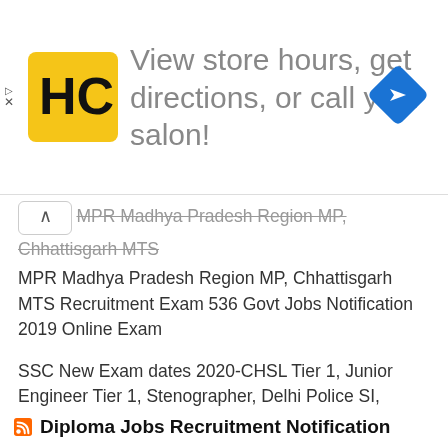[Figure (other): Advertisement banner: HC logo (black H and C letters on yellow circle), text 'View store hours, get directions, or call your salon!', blue navigation arrow diamond icon on right. Play/X icons on far left.]
MPR Madhya Pradesh Region MP, Chhattisgarh MTS Recruitment Exam 536 Govt Jobs Notification 2019 Online Exam
SSC New Exam dates 2020-CHSL Tier 1, Junior Engineer Tier 1, Stenographer, Delhi Police SI, CAPF, Hindi Translator, CGL Tier 2 Exam dates
SSCSR Southern Region AP, TN, TS Chargeman, Surveyor, HPO, Pharmacist, Nursing Officer, Medical Attendant, Draftsman, Syce, Junior Chemist 318 Govt Jobs Online
Diploma Jobs Recruitment Notification